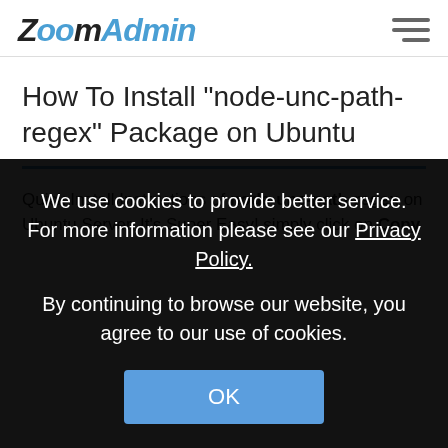ZoomAdmin
How To Install "node-unc-path-regex" Package on Ubuntu
Quick Install Instructions of node-unc-path-regex on Ubuntu Server. It's Super Easy! simply click on Copy
We use cookies to provide better service. For more information please see our Privacy Policy.
By continuing to browse our website, you agree to our use of cookies.